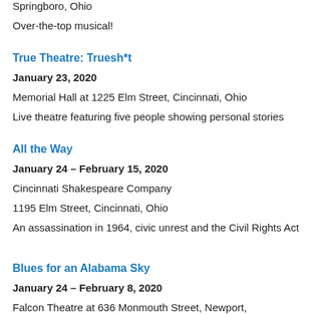Springboro, Ohio
Over-the-top musical!
True Theatre: Truesh*t
January 23, 2020
Memorial Hall at 1225 Elm Street, Cincinnati, Ohio
Live theatre featuring five people showing personal stories
All the Way
January 24 – February 15, 2020
Cincinnati Shakespeare Company
1195 Elm Street, Cincinnati, Ohio
An assassination in 1964, civic unrest and the Civil Rights Act
Blues for an Alabama Sky
January 24 – February 8, 2020
Falcon Theatre at 636 Monmouth Street, Newport,